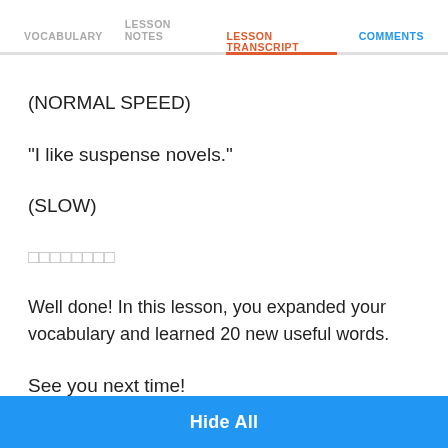VOCABULARY   LESSON NOTES   LESSON TRANSCRIPT   COMMENTS
(NORMAL SPEED)
"I like suspense novels."
(SLOW)
□□□□□□□□
Well done! In this lesson, you expanded your vocabulary and learned 20 new useful words.
See you next time!
□□□(zoi3 gin3.)
Hide All